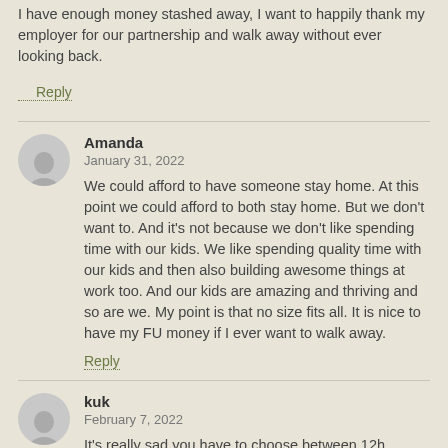I have enough money stashed away, I want to happily thank my employer for our partnership and walk away without ever looking back.
Reply
Amanda
January 31, 2022
We could afford to have someone stay home. At this point we could afford to both stay home. But we don't want to. And it's not because we don't like spending time with our kids. We like spending quality time with our kids and then also building awesome things at work too. And our kids are amazing and thriving and so are we. My point is that no size fits all. It is nice to have my FU money if I ever want to walk away.
Reply
kuk
February 7, 2022
It's really sad you have to choose between 12h